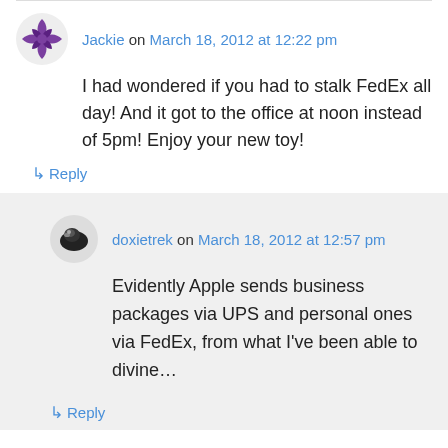Jackie on March 18, 2012 at 12:22 pm
I had wondered if you had to stalk FedEx all day! And it got to the office at noon instead of 5pm! Enjoy your new toy!
↳ Reply
doxietrek on March 18, 2012 at 12:57 pm
Evidently Apple sends business packages via UPS and personal ones via FedEx, from what I've been able to divine…
↳ Reply